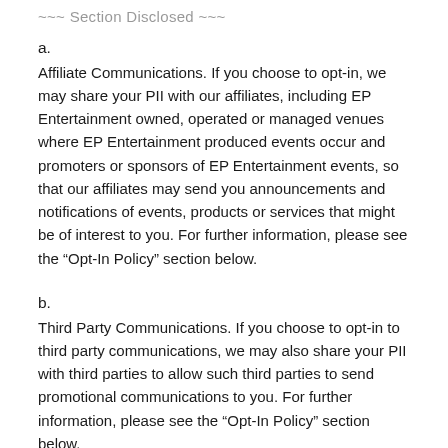~~~ Section Disclosed ~~~
a.
Affiliate Communications. If you choose to opt-in, we may share your PII with our affiliates, including EP Entertainment owned, operated or managed venues where EP Entertainment produced events occur and promoters or sponsors of EP Entertainment events, so that our affiliates may send you announcements and notifications of events, products or services that might be of interest to you. For further information, please see the “Opt-In Policy” section below.
b.
Third Party Communications. If you choose to opt-in to third party communications, we may also share your PII with third parties to allow such third parties to send promotional communications to you. For further information, please see the “Opt-In Policy” section below.
c.